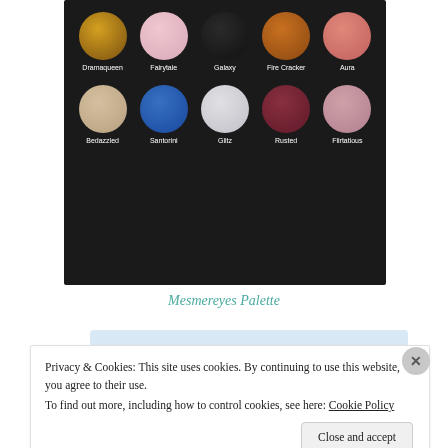[Figure (photo): Makeup eyeshadow palette on black background showing 10 circular swatches in two rows. Top row: Dramaqueen (gold glitter), Fairytale (light pink), Galaxy (black), Fire Cracker (orange/copper glitter), Aura (pink/coral). Bottom row: Bedazzled (beige/nude), Santorini (bright blue), Glitz (silver/white), Rusted (dark burgundy), Flirtatious (rose/pink shimmer).]
Mesmereyes Palette
[Figure (screenshot): WordPress app promotional banner with light blue background showing text 'the go.' in large serif font, 'GET THE APP' in bold blue uppercase letters, and WordPress logo icon on the right.]
Privacy & Cookies: This site uses cookies. By continuing to use this website, you agree to their use. To find out more, including how to control cookies, see here: Cookie Policy